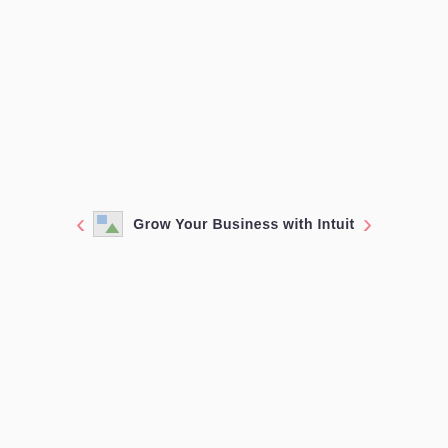[Figure (screenshot): A carousel UI element with left and right pink arrow navigation buttons, a broken image placeholder icon on the left, and the text 'Grow Your Business with Intuit' in bold dark text in the center.]